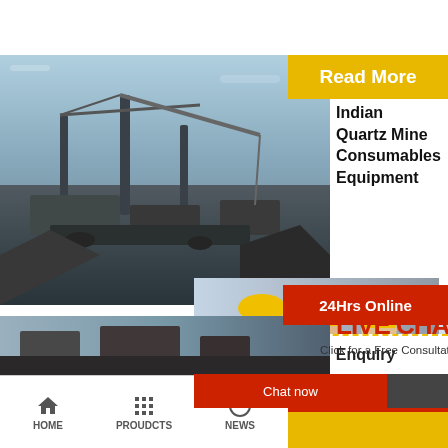[Figure (photo): Mining equipment and machinery at a quarry site, showing crushed rock and industrial equipment]
[Figure (screenshot): Read More button in yellow/gold background with white bold text]
Indian Quartz Mine Consumables Equipment
Quartz powder cru...
[Figure (screenshot): 24Hrs Online red banner with white text]
Hyderabad ilcap... quartz powder p... hyderabad As a... and mining equi... on any sizereduction requirements ...
[Figure (photo): Customer service representative with headset smiling]
[Figure (screenshot): Live Chat popup overlay with workers image, LIVE CHAT text in red, Click for a Free Consultation subtitle, Chat now and Chat later buttons]
[Figure (screenshot): Need questions & suggestion dark box with Chat Now red button]
Need questions & suggestion?
Chat Now
Enquiry
limingjlmofen
HOME   PROUDCTS   NEWS